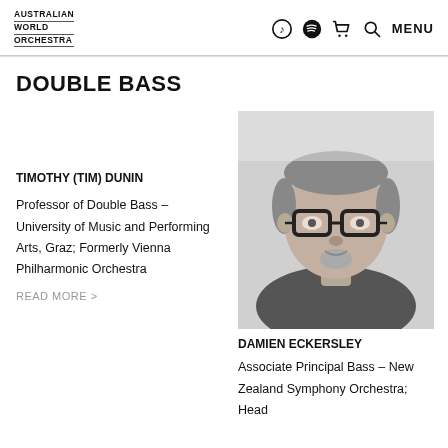AUSTRALIAN WORLD ORCHESTRA
DOUBLE BASS
TIMOTHY (TIM) DUNIN
Professor of Double Bass – University of Music and Performing Arts, Graz; Formerly Vienna Philharmonic Orchestra
READ MORE >
[Figure (photo): Black and white headshot of Timothy (Tim) Dunin, a man with glasses, short hair, and a goatee beard]
DAMIEN ECKERSLEY
Associate Principal Bass – New Zealand Symphony Orchestra; Head